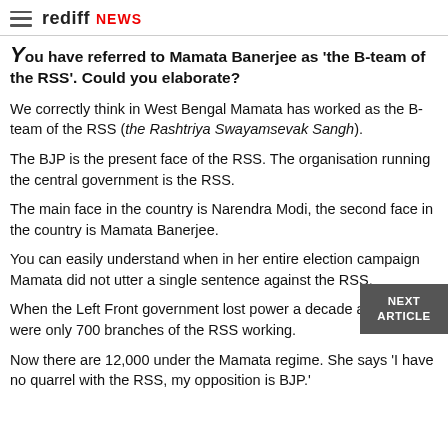rediff NEWS
You have referred to Mamata Banerjee as 'the B-team of the RSS'. Could you elaborate?
We correctly think in West Bengal Mamata has worked as the B-team of the RSS (the Rashtriya Swayamsevak Sangh).
The BJP is the present face of the RSS. The organisation running the central government is the RSS.
The main face in the country is Narendra Modi, the second face in the country is Mamata Banerjee.
You can easily understand when in her entire election campaign Mamata did not utter a single sentence against the RSS.
When the Left Front government lost power a decade ago there were only 700 branches of the RSS working.
Now there are 12,000 under the Mamata regime. She says 'I have no quarrel with the RSS, my opposition is BJP.'